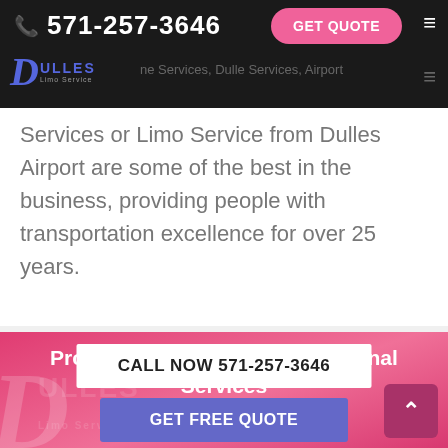571-257-3646  GET QUOTE
[Figure (logo): Dulles Limo Service logo with stylized D and car graphic]
Services or Limo Service from Dulles Airport are some of the best in the business, providing people with transportation excellence for over 25 years.
Providing Excellent & Professional Services
CALL NOW 571-257-3646
GET FREE QUOTE